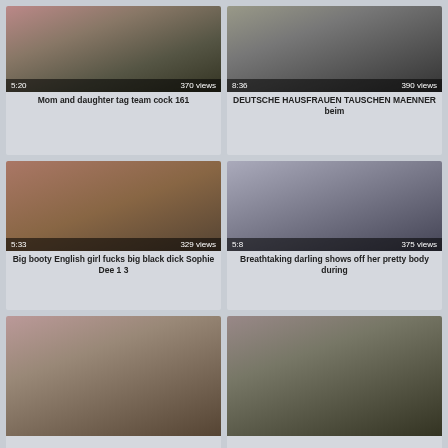[Figure (screenshot): Video thumbnail 1 - duration 5:20, 370 views]
Mom and daughter tag team cock 161
[Figure (screenshot): Video thumbnail 2 - duration 8:36, 390 views]
DEUTSCHE HAUSFRAUEN TAUSCHEN MAENNER beim
[Figure (screenshot): Video thumbnail 3 - duration 5:33, 329 views]
Big booty English girl fucks big black dick Sophie Dee 1 3
[Figure (screenshot): Video thumbnail 4 - duration 5:8, 375 views]
Breathtaking darling shows off her pretty body during
[Figure (screenshot): Video thumbnail 5 - partial, no title visible]
[Figure (screenshot): Video thumbnail 6 - partial, no title visible]